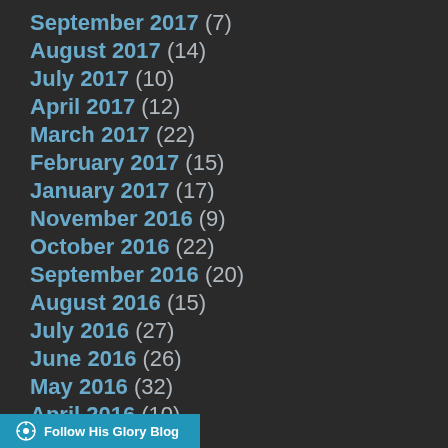September 2017 (7)
August 2017 (14)
July 2017 (10)
April 2017 (12)
March 2017 (22)
February 2017 (15)
January 2017 (17)
November 2016 (9)
October 2016 (22)
September 2016 (20)
August 2016 (15)
July 2016 (27)
June 2016 (26)
May 2016 (32)
April 2016 (10)
Follow His Glory Blog